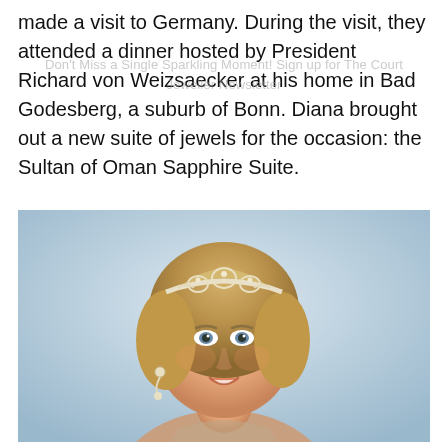made a visit to Germany. During the visit, they attended a dinner hosted by President Richard von Weizsaecker at his home in Bad Godesberg, a suburb of Bonn. Diana brought out a new suite of jewels for the occasion: the Sultan of Oman Sapphire Suite.
[Figure (photo): Portrait photograph of Princess Diana wearing a diamond tiara and earrings, smiling, with blonde upswept hair, against a light background.]